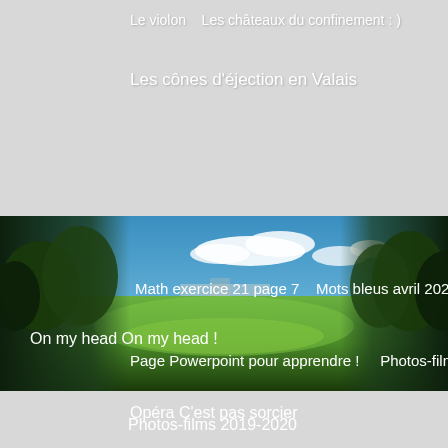Le violon   Les châteaux du confinement : )
Les cônes d'éjection en Valais
[Figure (photo): Panoramic photo of a park with green grass, blue sky, trees on either side, and a football field in the background]
Math exercice 21 page 7    Mots bleus avril 2022
On my head    On my head !
Opéra C'est pas sorcier
Page Powerpoint pour apprendre !    Photos-films
Photos-films 2019-2020